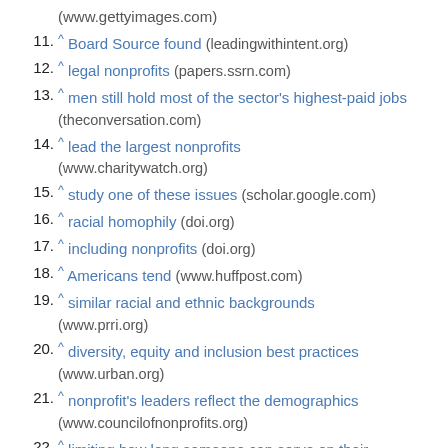(www.gettyimages.com)
11. ^ Board Source found (leadingwithintent.org)
12. ^ legal nonprofits (papers.ssrn.com)
13. ^ men still hold most of the sector's highest-paid jobs (theconversation.com)
14. ^ lead the largest nonprofits (www.charitywatch.org)
15. ^ study one of these issues (scholar.google.com)
16. ^ racial homophily (doi.org)
17. ^ including nonprofits (doi.org)
18. ^ Americans tend (www.huffpost.com)
19. ^ similar racial and ethnic backgrounds (www.prri.org)
20. ^ diversity, equity and inclusion best practices (www.urban.org)
21. ^ nonprofit's leaders reflect the demographics (www.councilofnonprofits.org)
22. ^ limiting how long someone can serve on their